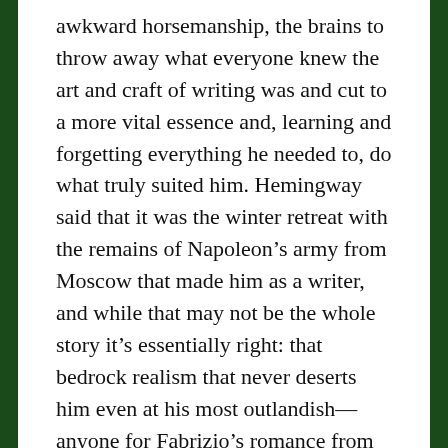awkward horsemanship, the brains to throw away what everyone knew the art and craft of writing was and cut to a more vital essence and, learning and forgetting everything he needed to, do what truly suited him. Hemingway said that it was the winter retreat with the remains of Napoleon’s army from Moscow that made him as a writer, and while that may not be the whole story it’s essentially right: that bedrock realism that never deserts him even at his most outlandish—anyone for Fabrizio’s romance from his prison cell in the Farnese Tower with the prisonkeeper’s daughter sequestered in the tower across the way?
Whenever I arrive in Paris—and it’s been too long since I’ve been there—my first supererogatory social call is to the Cimitière Montmartre, beneath the last statement for the pleasure of being present